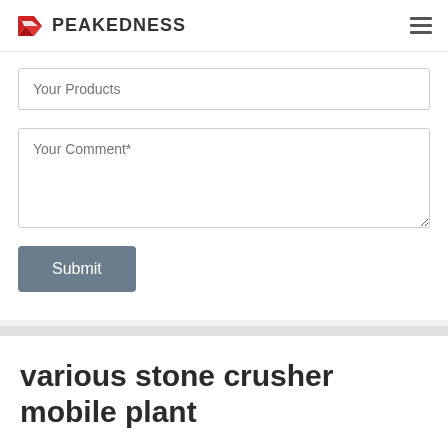PEAKEDNESS
Your Products
Your Comment*
Submit
various stone crusher mobile plant